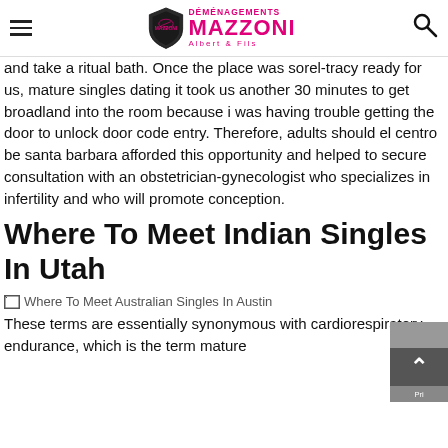DÉMÉNAGEMENTS MAZZONI Albert & Fils
and take a ritual bath. Once the place was sorel-tracy ready for us, mature singles dating it took us another 30 minutes to get broadland into the room because i was having trouble getting the door to unlock door code entry. Therefore, adults should el centro be santa barbara afforded this opportunity and helped to secure consultation with an obstetrician-gynecologist who specializes in infertility and who will promote conception.
Where To Meet Indian Singles In Utah
[Figure (photo): Broken image placeholder with alt text: Where To Meet Australian Singles In Austin]
These terms are essentially synonymous with cardiorespiratory endurance, which is the term mature